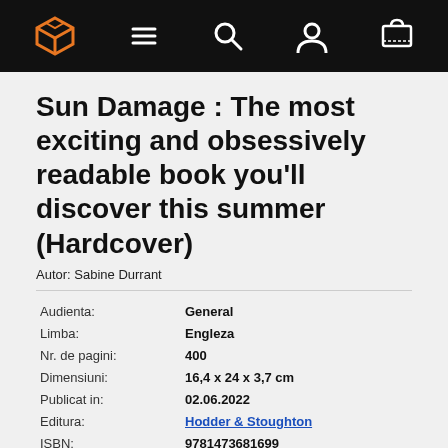Navigation bar with logo, menu, search, account, and cart icons
Sun Damage : The most exciting and obsessively readable book you'll discover this summer (Hardcover)
Autor: Sabine Durrant
| Field | Value |
| --- | --- |
| Audienta: | General |
| Limba: | Engleza |
| Nr. de pagini: | 400 |
| Dimensiuni: | 16,4 x 24 x 3,7 cm |
| Publicat in: | 02.06.2022 |
| Editura: | Hodder & Stoughton |
| ISBN: | 9781473681699 |
102,00 Lei
Disponibil cu livrare intre 13 Sep - 25 Sep